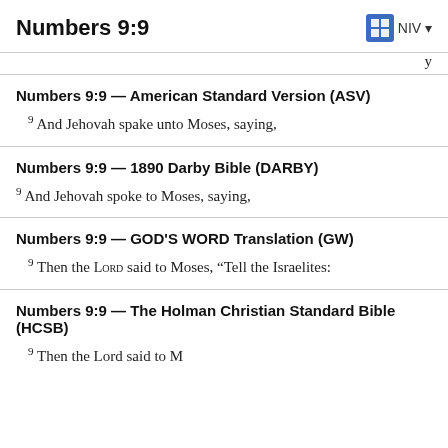Numbers 9:9 | NIV
y
Numbers 9:9 — American Standard Version (ASV)
9 And Jehovah spake unto Moses, saying,
Numbers 9:9 — 1890 Darby Bible (DARBY)
9 And Jehovah spoke to Moses, saying,
Numbers 9:9 — GOD'S WORD Translation (GW)
9 Then the LORD said to Moses, “Tell the Israelites:
Numbers 9:9 — The Holman Christian Standard Bible (HCSB)
9 Then the Lord said to M...